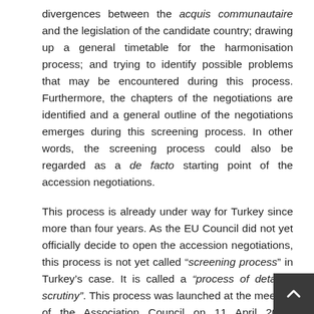divergences between the acquis communautaire and the legislation of the candidate country; drawing up a general timetable for the harmonisation process; and trying to identify possible problems that may be encountered during this process. Furthermore, the chapters of the negotiations are identified and a general outline of the negotiations emerges during this screening process. In other words, the screening process could also be regarded as a de facto starting point of the accession negotiations.
This process is already under way for Turkey since more than four years. As the EU Council did not yet officially decide to open the accession negotiations, this process is not yet called “screening process” in Turkey's case. It is called a “process of detailed scrutiny”. This process was launched at the meeting of the Association Council on 11 April 2000. Whichever way it is called, it achieves similar tasks as in the screening process.
Eight committees were established to carry out detailed scrutiny in the following fields. They are: